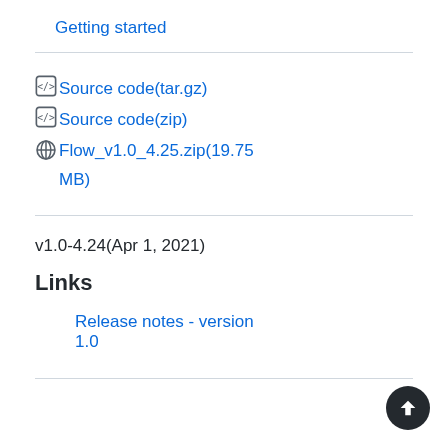Getting started
Source code(tar.gz)
Source code(zip)
Flow_v1.0_4.25.zip(19.75 MB)
v1.0-4.24(Apr 1, 2021)
Links
Release notes - version 1.0